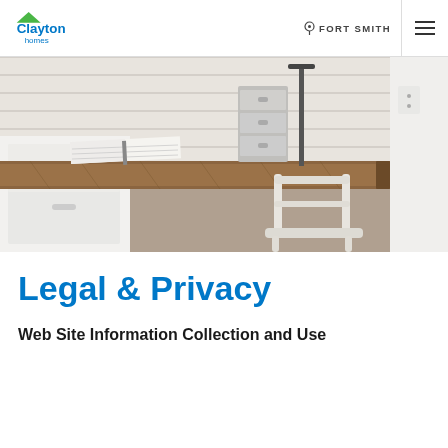Clayton homes | FORT SMITH
[Figure (photo): Interior photo of a home office workspace with a rustic wood desk/countertop, an open notebook, metal filing drawers, a lamp, and a white metal chair against white shiplap walls.]
Legal & Privacy
Web Site Information Collection and Use